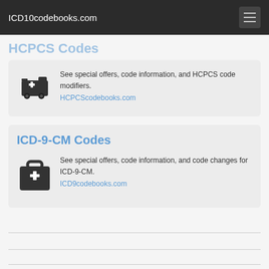ICD10codebooks.com
HCPCS Codes
See special offers, code information, and HCPCS code modifiers.
HCPCScodebooks.com
ICD-9-CM Codes
See special offers, code information, and code changes for ICD-9-CM.
ICD9codebooks.com